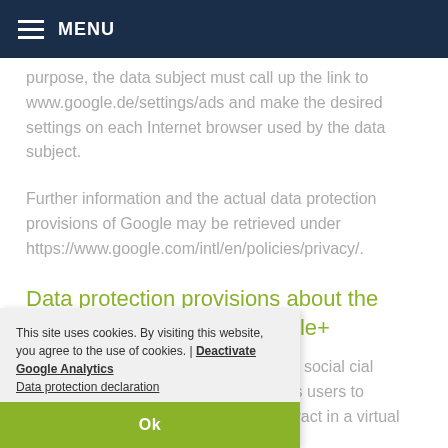MENU
purpose, the data subject must call up the link to www.google.de/settings/ads and make the desired settings on each Internet browser used by the data subject.
Further information and the actual data protection provisions of Google may be retrieved under https://www.google.com/intl/en/policies/privacy/.
Data protection provisions about the application and use of Google+
s integrated the Google+ is a so-called social cial meeting place on the ich usually allows users to communicate with each other and interact in a virtual space.
This site uses cookies. By visiting this website, you agree to the use of cookies. | Deactivate Google Analytics
Data protection declaration
Ok